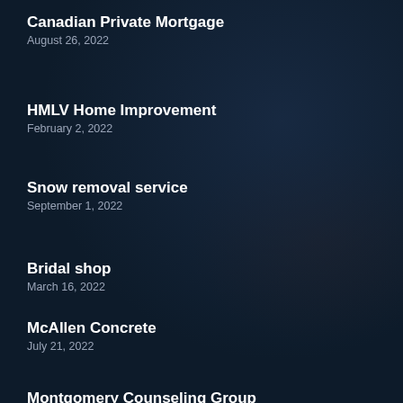Canadian Private Mortgage
August 26, 2022
HMLV Home Improvement
February 2, 2022
Snow removal service
September 1, 2022
Bridal shop
March 16, 2022
McAllen Concrete
July 21, 2022
Montgomery Counseling Group